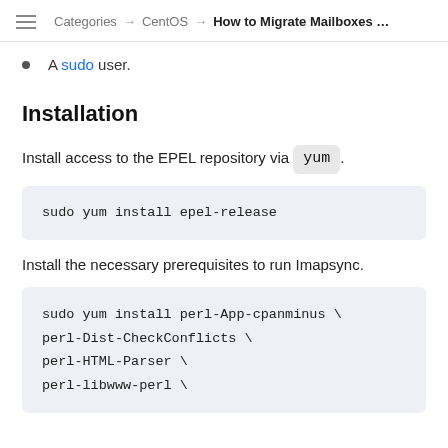Categories → CentOS → How to Migrate Mailboxes …
A sudo user.
Installation
Install access to the EPEL repository via yum.
sudo yum install epel-release
Install the necessary prerequisites to run Imapsync.
sudo yum install perl-App-cpanminus \
perl-Dist-CheckConflicts \
perl-HTML-Parser \
perl-libwww-perl \